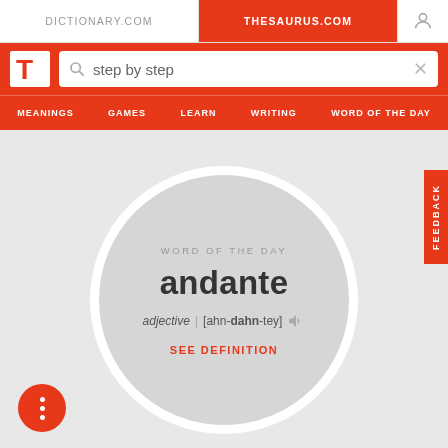DICTIONARY.COM | THESAURUS.COM
[Figure (screenshot): Thesaurus.com website header with logo, search bar containing 'step by step', and navigation menu with MEANINGS, GAMES, LEARN, WRITING, WORD OF THE DAY]
WORD OF THE DAY
andante
adjective | [ahn-dahn-tey]
SEE DEFINITION
FEEDBACK